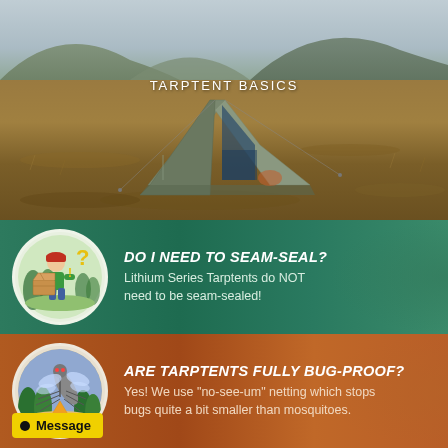[Figure (photo): Outdoor landscape photo showing a gray/green tarp tent pitched on open moorland with brown grassy terrain and hills in the background under an overcast sky. Text overlay reads 'TARPTENT BASICS'.]
TARPTENT BASICS
[Figure (infographic): Green banner section with circular icon showing a cartoon person holding an open box with a question mark, on a green background. Question and answer text about seam-sealing.]
DO I NEED TO SEAM-SEAL?
Lithium Series Tarptents do NOT need to be seam-sealed!
[Figure (infographic): Orange/brown banner section with circular icon showing a close-up of a mosquito with trees and a tent in background. Question and answer text about bug-proofing.]
ARE TARPTENTS FULLY BUG-PROOF?
Yes! We use "no-see-um" netting which stops bugs quite a bit smaller than mosquitoes.
Message